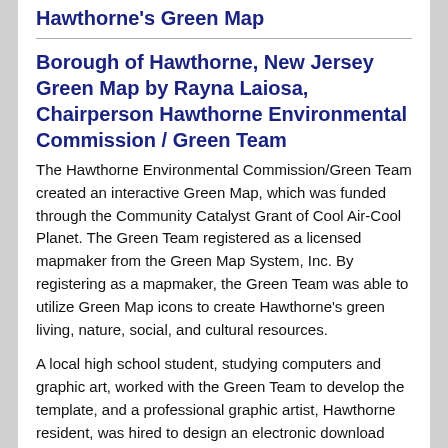Hawthorne's Green Map
Borough of Hawthorne, New Jersey Green Map by Rayna Laiosa, Chairperson Hawthorne Environmental Commission / Green Team
The Hawthorne Environmental Commission/Green Team created an interactive Green Map, which was funded through the Community Catalyst Grant of Cool Air-Cool Planet. The Green Team registered as a licensed mapmaker from the Green Map System, Inc. By registering as a mapmaker, the Green Team was able to utilize Green Map icons to create Hawthorne's green living, nature, social, and cultural resources.
A local high school student, studying computers and graphic art, worked with the Green Team to develop the template, and a professional graphic artist, Hawthorne resident, was hired to design an electronic download and desktop printing version of the map.